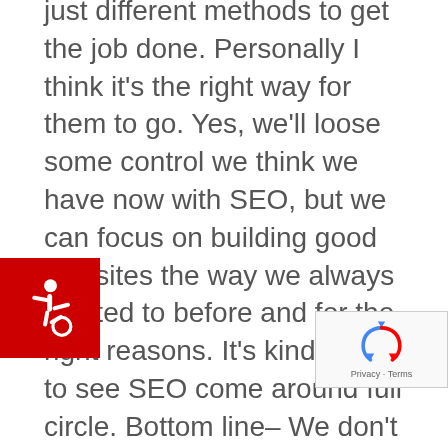As social picks up more steam, it's still SEO. It's just different methods to get the job done. Personally I think it's the right way for them to go. Yes, we'll loose some control we think we have now with SEO, but we can focus on building good websites the way we always wanted to before and for the right reasons. It's kind of cool to see SEO come around full circle. Bottom line– We don't have to build ugly, SEO friendly websites anymore. We can build beautiful websites that people like to look at.

We just launch a new redesigned National targeted website two weeks ago for a client and we followed this new mantra completely. We'll let you know how that worked out over the next few weeks. I've seen Google say one thing and do
[Figure (illustration): Red square accessibility icon with white wheelchair symbol]
[Figure (logo): reCAPTCHA badge with Privacy - Terms text]